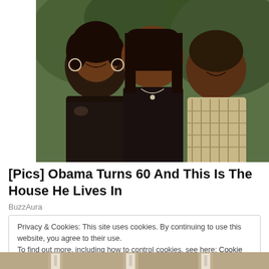[Figure (photo): Family photo of three people (woman on left, young woman in center, man on right) posing together outdoors with greenery in background]
[Pics] Obama Turns 60 And This Is The House He Lives In
BuzzAura
Privacy & Cookies: This site uses cookies. By continuing to use this website, you agree to their use.
To find out more, including how to control cookies, see here: Cookie Policy
[Figure (photo): Partial photo of a house exterior visible at bottom of page]